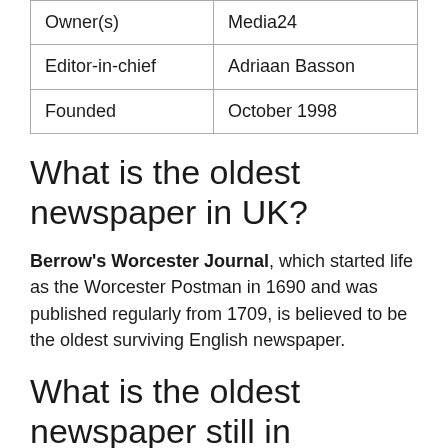| Owner(s) | Media24 |
| Editor-in-chief | Adriaan Basson |
| Founded | October 1998 |
What is the oldest newspaper in UK?
Berrow's Worcester Journal, which started life as the Worcester Postman in 1690 and was published regularly from 1709, is believed to be the oldest surviving English newspaper.
What is the oldest newspaper still in